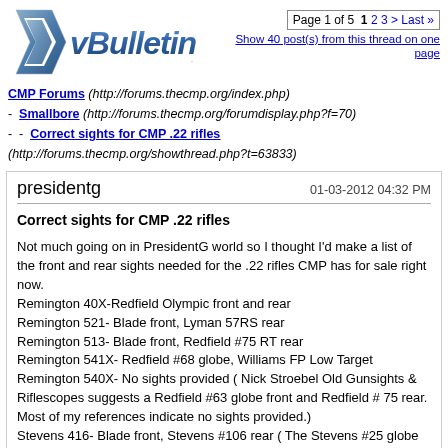[Figure (logo): vBulletin logo — blue stylized ribbon/chevron icon with 'vBulletin' text in metallic blue italic font]
Page 1 of 5  1  2  3  >  Last »
Show 40 post(s) from this thread on one page
CMP Forums (http://forums.thecmp.org/index.php)
- Smallbore (http://forums.thecmp.org/forumdisplay.php?f=70)
- - Correct sights for CMP .22 rifles (http://forums.thecmp.org/showthread.php?t=63833)
presidentg
01-03-2012 04:32 PM

Correct sights for CMP .22 rifles

Not much going on in PresidentG world so I thought I'd make a list of the front and rear sights needed for the .22 rifles CMP has for sale right now.
Remington 40X-Redfield Olympic front and rear
Remington 521- Blade front, Lyman 57RS rear
Remington 513- Blade front, Redfield #75 RT rear
Remington 541X- Redfield #68 globe, Williams FP Low Target
Remington 540X- No sights provided ( Nick Stroebel Old Gunsights & Riflescopes suggests a Redfield #63 globe front and Redfield # 75 rear. Most of my references indicate no sights provided.)
Stevens 416- Blade front, Stevens #106 rear ( The Stevens #25 globe would also be correct. Finding the #25 and #106 will be challenging.